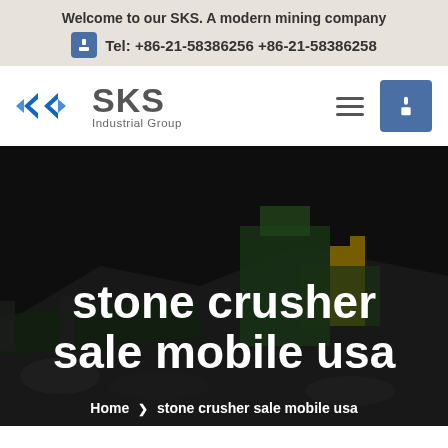Welcome to our SKS. A modern mining company
Tel: +86-21-58386256 +86-21-58386258
[Figure (logo): SKS Industrial Group logo with blue angular arrows and grey SKS text]
stone crusher sale mobile usa
Home  ❯  stone crusher sale mobile usa